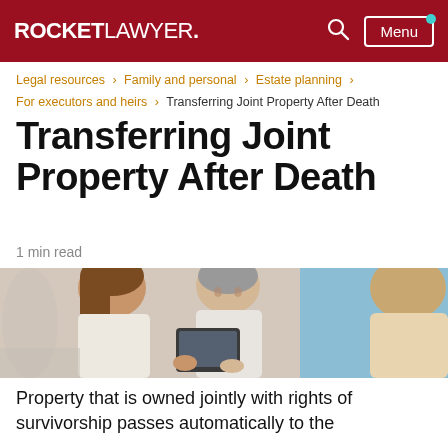ROCKETLAWYER.
Legal resources > Family and personal > Estate planning > For executors and heirs > Transferring Joint Property After Death
Transferring Joint Property After Death
1 min read
[Figure (photo): Two people (a woman and a man) looking at a tablet together with a professional across from them]
Property that is owned jointly with rights of survivorship passes automatically to the